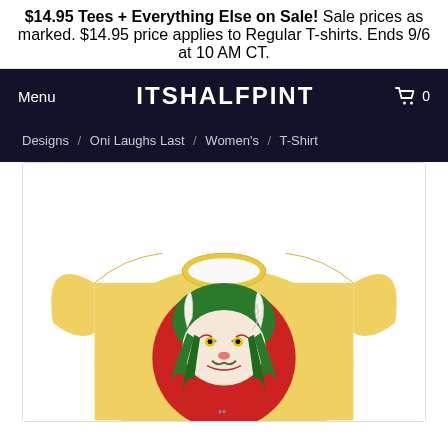$14.95 Tees + Everything Else on Sale! Sale prices as marked. $14.95 price applies to Regular T-shirts. Ends 9/6 at 10 AM CT.
Menu
ITSHALFPINT
0
Designs / Oni Laughs Last / Women's / T-Shirt
[Figure (photo): Yellow women's t-shirt with an Oni demon mask graphic design featuring green hair, horns, and a red circular background, displayed on a white background.]